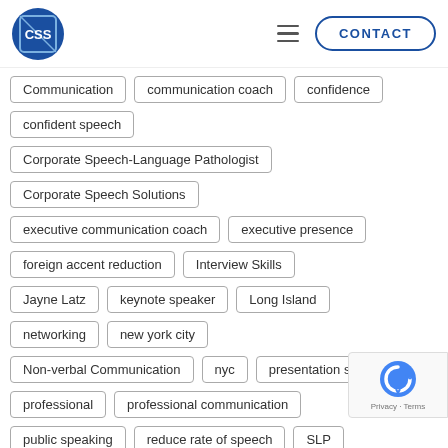[Figure (logo): CSS logo - circular blue badge with CSS text]
Communication
communication coach
confidence
confident speech
Corporate Speech-Language Pathologist
Corporate Speech Solutions
executive communication coach
executive presence
foreign accent reduction
Interview Skills
Jayne Latz
keynote speaker
Long Island
networking
new york city
Non-verbal Communication
nyc
presentation skills
professional
professional communication
public speaking
reduce rate of speech
SLP
speak clearly
speak slowly
speech coach